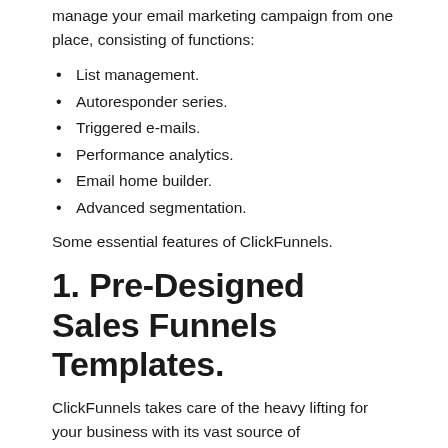manage your email marketing campaign from one place, consisting of functions:
List management.
Autoresponder series.
Triggered e-mails.
Performance analytics.
Email home builder.
Advanced segmentation.
Some essential features of ClickFunnels.
1. Pre-Designed Sales Funnels Templates.
ClickFunnels takes care of the heavy lifting for your business with its vast source of